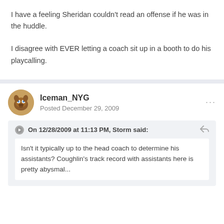I have a feeling Sheridan couldn't read an offense if he was in the huddle.
I disagree with EVER letting a coach sit up in a booth to do his playcalling.
Iceman_NYG
Posted December 29, 2009
On 12/28/2009 at 11:13 PM, Storm said:
Isn't it typically up to the head coach to determine his assistants? Coughlin's track record with assistants here is pretty abysmal...